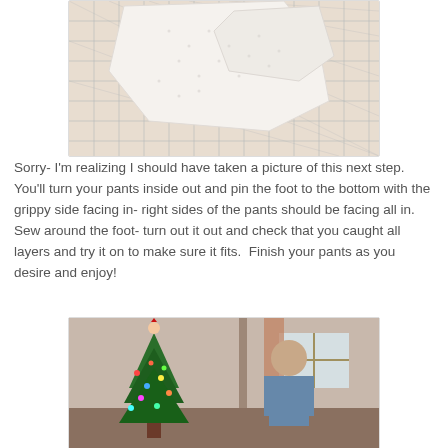[Figure (photo): Cut fabric pieces on a grid cutting mat — white textured fabric pieces laid on a ruler grid mat]
Sorry- I'm realizing I should have taken a picture of this next step.  You'll turn your pants inside out and pin the foot to the bottom with the grippy side facing in- right sides of the pants should be facing all in.  Sew around the foot- turn out it out and check that you caught all layers and try it on to make sure it fits.  Finish your pants as you desire and enjoy!
[Figure (photo): A person standing next to a decorated Christmas tree with colorful lights and an elf topper, taken indoors]